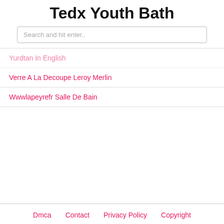Tedx Youth Bath
Search and hit enter..
Yurdtan In English
Verre A La Decoupe Leroy Merlin
Wwwlapeyrefr Salle De Bain
Dmca   Contact   Privacy Policy   Copyright